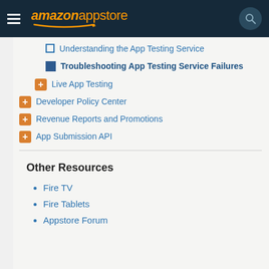amazon appstore
Understanding the App Testing Service
Troubleshooting App Testing Service Failures
Live App Testing
Developer Policy Center
Revenue Reports and Promotions
App Submission API
Other Resources
Fire TV
Fire Tablets
Appstore Forum